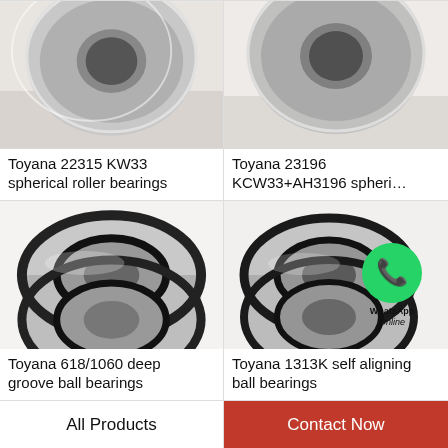[Figure (photo): Toyana 22315 KW33 spherical roller bearing photo (partial, top portion)]
[Figure (photo): Toyana 23196 KCW33+AH3196 spherical roller bearing photo (partial, top portion)]
Toyana 22315 KW33 spherical roller bearings
Toyana 23196 KCW33+AH3196 spheri…
[Figure (photo): Toyana 618/1060 deep groove ball bearing - cylindrical silver/black bearing on white background]
[Figure (photo): Toyana 1313K self aligning ball bearing with WhatsApp Online overlay badge]
Toyana 618/1060 deep groove ball bearings
Toyana 1313K self aligning ball bearings
All Products
Contact Now